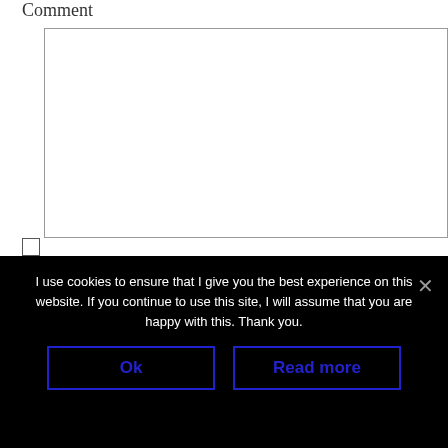Comment
Notify me of followup comments via e-mail
I use cookies to ensure that I give you the best experience on this website. If you continue to use this site, I will assume that you are happy with this. Thank you.
Ok
Read more